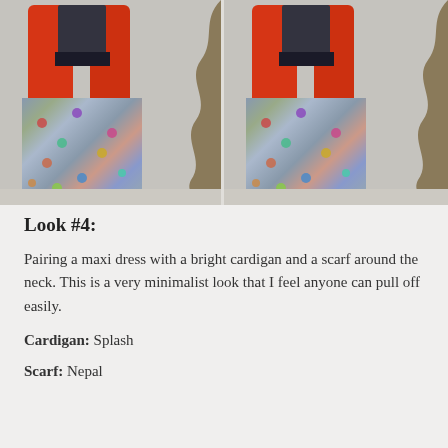[Figure (photo): Two side-by-side photos of a person wearing a floral maxi dress with a bright red/orange cardigan and a dark scarf around the neck, standing in front of a wall with a wavy decorative element on the right side.]
Look #4:
Pairing a maxi dress with a bright cardigan and a scarf around the neck. This is a very minimalist look that I feel anyone can pull off easily.
Cardigan: Splash
Scarf: Nepal